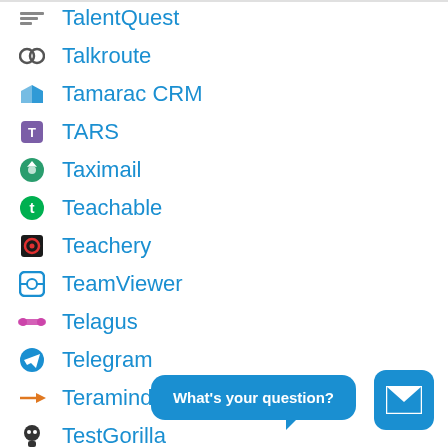TalentQuest
Talkroute
Tamarac CRM
TARS
Taximail
Teachable
Teachery
TeamViewer
Telagus
Telegram
Teramind
TestGorilla
What's your question?